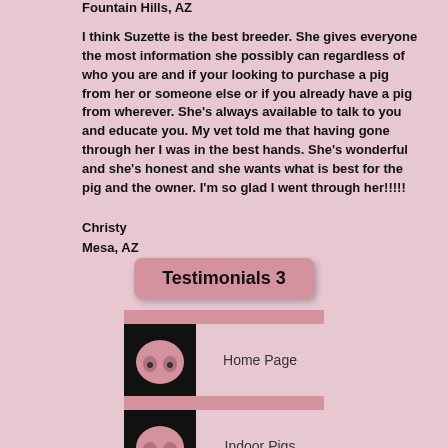Fountain Hills, AZ
I think Suzette is the best breeder. She gives everyone the most information she possibly can regardless of who you are and if your looking to purchase a pig from her or someone else or if you already have a pig from wherever. She's always available to talk to you and educate you. My vet told me that having gone through her I was in the best hands. She's wonderful and she's honest and she wants what is best for the pig and the owner. I'm so glad I went through her!!!!!
Christy
Mesa, AZ
Testimonials 3
[Figure (illustration): Navigation button with pig nose icon and 'Home Page' label]
[Figure (illustration): Navigation button with pig nose icon and 'Indoor Pigs' label]